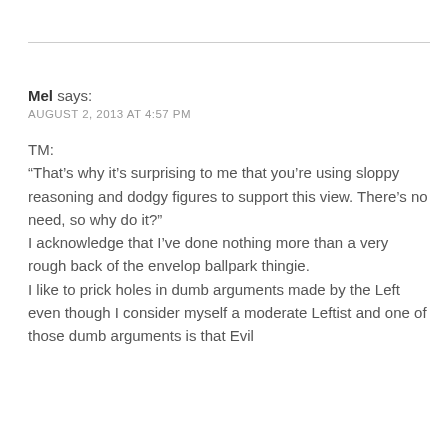Mel says:
AUGUST 2, 2013 AT 4:57 PM
TM:
“That’s why it’s surprising to me that you’re using sloppy reasoning and dodgy figures to support this view. There’s no need, so why do it?”
I acknowledge that I’ve done nothing more than a very rough back of the envelop ballpark thingie.
I like to prick holes in dumb arguments made by the Left even though I consider myself a moderate Leftist and one of those dumb arguments is that Evil